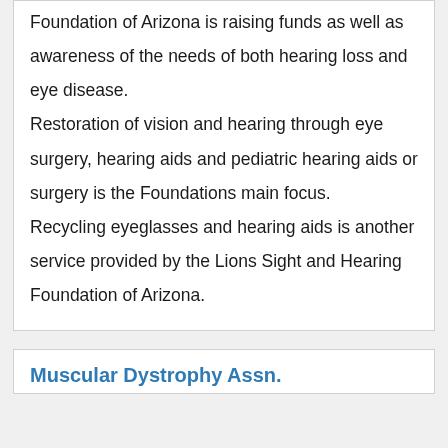Foundation of Arizona is raising funds as well as awareness of the needs of both hearing loss and eye disease.
Restoration of vision and hearing through eye surgery, hearing aids and pediatric hearing aids or surgery is the Foundations main focus.
Recycling eyeglasses and hearing aids is another service provided by the Lions Sight and Hearing Foundation of Arizona.
Muscular Dystrophy Assn.